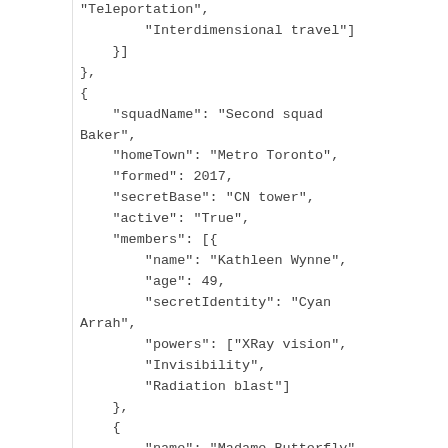"Teleportation",
            "Interdimensional travel"]
        }]
    },
    {
        "squadName": "Second squad Baker",
        "homeTown": "Metro Toronto",
        "formed": 2017,
        "secretBase": "CN tower",
        "active": "True",
        "members": [{
            "name": "Kathleen Wynne",
            "age": 49,
            "secretIdentity": "Cyan Arrah",
            "powers": ["XRay vision",
            "Invisibility",
            "Radiation blast"]
        },
        {
            "name": "Madame Butterfly",
            "age": 27,